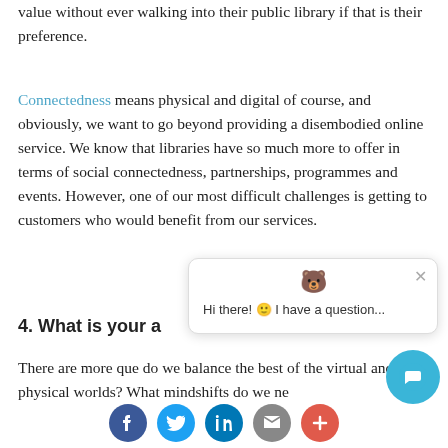value without ever walking into their public library if that is their preference.
Connectedness means physical and digital of course, and obviously, we want to go beyond providing a disembodied online service. We know that libraries have so much more to offer in terms of social connectedness, partnerships, programmes and events. However, one of our most difficult challenges is getting to customers who would benefit from our services.
4. What is your a
There are more que do we balance the best of the virtual and physical worlds? What mindshifts do we ne